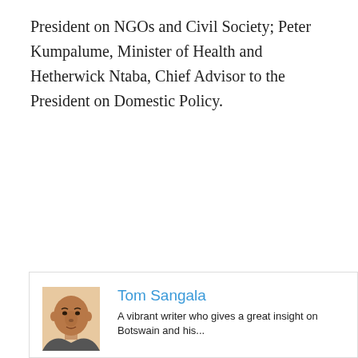President on NGOs and Civil Society; Peter Kumpalume, Minister of Health and Hetherwick Ntaba, Chief Advisor to the President on Domestic Policy.
[Figure (photo): Headshot photo of Tom Sangala, a man shown from roughly the shoulders up.]
Tom Sangala
A vibrant writer who gives a great insight on Botswain and his...